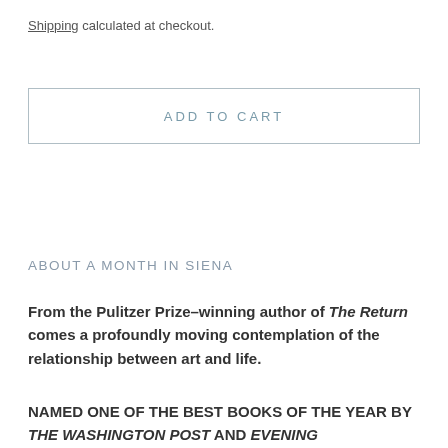Shipping calculated at checkout.
ADD TO CART
ABOUT A MONTH IN SIENA
From the Pulitzer Prize–winning author of The Return comes a profoundly moving contemplation of the relationship between art and life.
NAMED ONE OF THE BEST BOOKS OF THE YEAR BY THE WASHINGTON POST AND EVENING